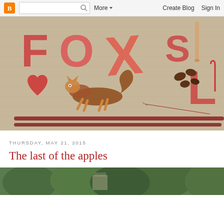Blogger navigation bar with logo, search, More, Create Blog, Sign In
[Figure (photo): Fox's Lane blog header image showing letters F, O, X, S, L on a burlap/linen background with a glass fox figurine, red heart, coffee beans, knitting needles, crochet hook, and red thread]
THURSDAY, MAY 21, 2015
The last of the apples
[Figure (photo): Partial bottom image showing trees and greenery]